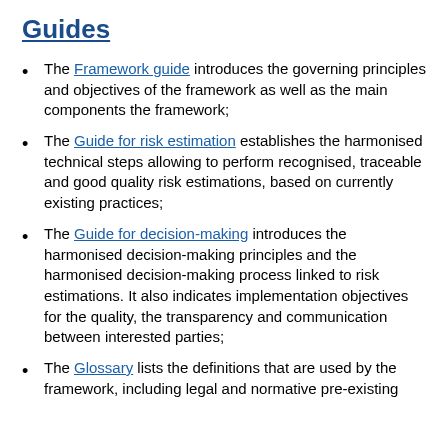Guides
The Framework guide introduces the governing principles and objectives of the framework as well as the main components the framework;
The Guide for risk estimation establishes the harmonised technical steps allowing to perform recognised, traceable and good quality risk estimations, based on currently existing practices;
The Guide for decision-making introduces the harmonised decision-making principles and the harmonised decision-making process linked to risk estimations. It also indicates implementation objectives for the quality, the transparency and communication between interested parties;
The Glossary lists the definitions that are used by the framework, including legal and normative pre-existing